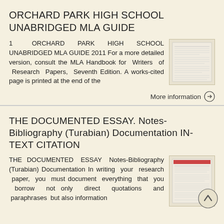ORCHARD PARK HIGH SCHOOL UNABRIDGED MLA GUIDE
1 ORCHARD PARK HIGH SCHOOL UNABRIDGED MLA GUIDE 2011 For a more detailed version, consult the MLA Handbook for Writers of Research Papers, Seventh Edition. A works-cited page is printed at the end of the
[Figure (screenshot): Thumbnail image of a document page]
More information →
THE DOCUMENTED ESSAY. Notes-Bibliography (Turabian) Documentation IN-TEXT CITATION
THE DOCUMENTED ESSAY Notes-Bibliography (Turabian) Documentation In writing your research paper, you must document everything that you borrow not only direct quotations and paraphrases but also information
[Figure (screenshot): Thumbnail image of a document page]